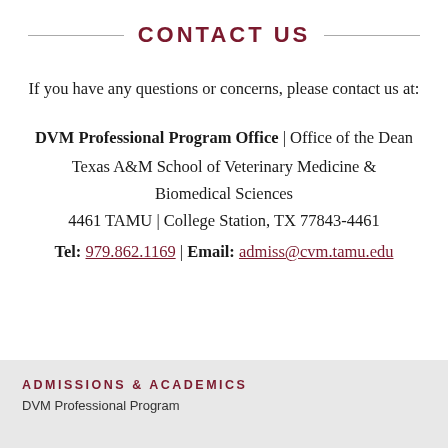CONTACT US
If you have any questions or concerns, please contact us at:
DVM Professional Program Office | Office of the Dean
Texas A&M School of Veterinary Medicine & Biomedical Sciences
4461 TAMU | College Station, TX 77843-4461
Tel: 979.862.1169 | Email: admiss@cvm.tamu.edu
ADMISSIONS & ACADEMICS
DVM Professional Program